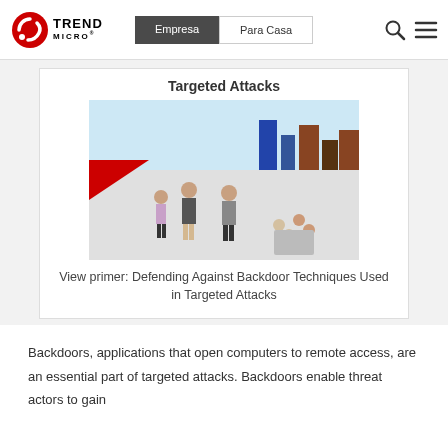Empresa | Para Casa
Targeted Attacks
[Figure (photo): Overhead view of business people walking on a curved white platform with a city skyline in the background]
View primer: Defending Against Backdoor Techniques Used in Targeted Attacks
Backdoors, applications that open computers to remote access, are an essential part of targeted attacks. Backdoors enable threat actors to gain